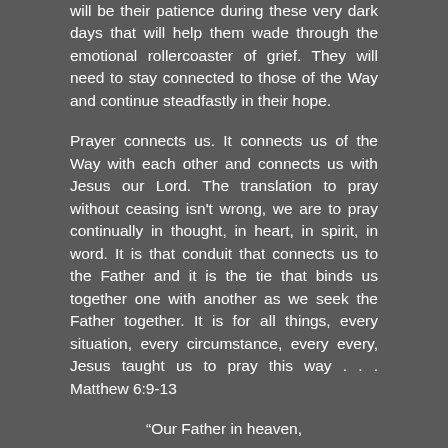will be their patience during these very dark days that will help them wade through the emotional rollercoaster of grief. They will need to stay connected to those of the Way and continue steadfastly in their hope.
Prayer connects us. It connects us of the Way with each other and connects us with Jesus our Lord. The translation to pray without ceasing isn't wrong, we are to pray continually in thought, in heart, in spirit, in word. It is that conduit that connects us to the Father and it is the tie that binds us together one with another as we seek the Father together. It is for all things, every situation, every circumstance, every every, Jesus taught us to pray this way . . . Matthew 6:9-13
“Our Father in heaven,